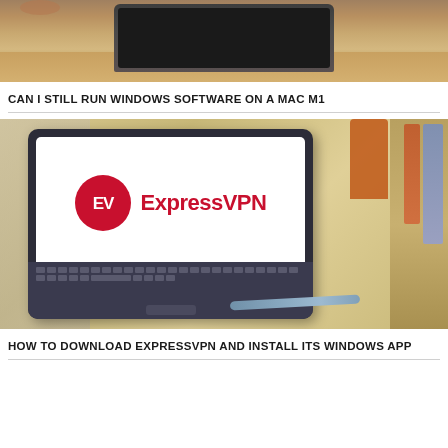[Figure (photo): MacBook laptop partially open on a wooden desk surface, viewed from above/behind, showing the dark aluminum lid]
CAN I STILL RUN WINDOWS SOFTWARE ON A MAC M1
[Figure (photo): A tablet device with a keyboard showing the ExpressVPN logo on its screen, with a stylus pen, on a wooden surface]
HOW TO DOWNLOAD EXPRESSVPN AND INSTALL ITS WINDOWS APP